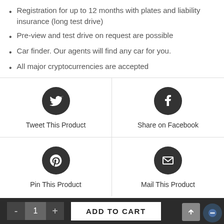Registration for up to 12 months with plates and liability insurance (long test drive)
Pre-view and test drive on request are possible
Car finder. Our agents will find any car for you.
All major cryptocurrencies are accepted
[Figure (infographic): 2x2 grid of social sharing buttons: Twitter (Tweet This Product), Facebook (Share on Facebook), Pinterest (Pin This Product), Email (Mail This Product)]
ADD TO CART (bottom bar with quantity selector showing 1, minus and plus buttons, and Add to Cart button)